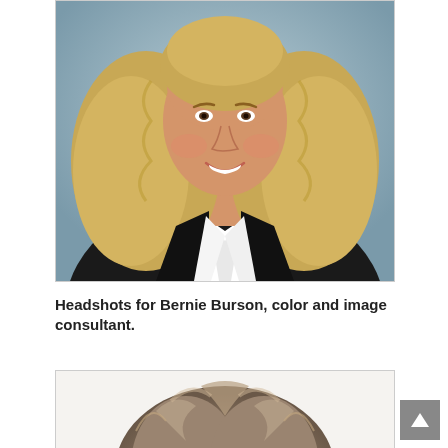[Figure (photo): Professional headshot of a woman with blonde curly hair wearing a black blazer over a white collared shirt, photographed against a light blue-grey background. She is smiling.]
Headshots for Bernie Burson, color and image consultant.
[Figure (photo): Partial headshot showing the top of a person's head with voluminous grey-brown curly/fluffy hair against a white background.]